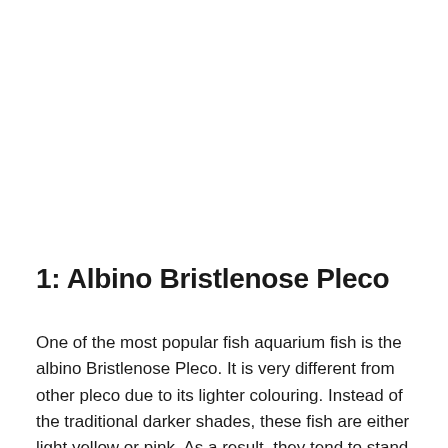1: Albino Bristlenose Pleco
One of the most popular fish aquarium fish is the albino Bristlenose Pleco. It is very different from other pleco due to its lighter colouring. Instead of the traditional darker shades, these fish are either light yellow or pink. As a result, they tend to stand out in most aquariums.